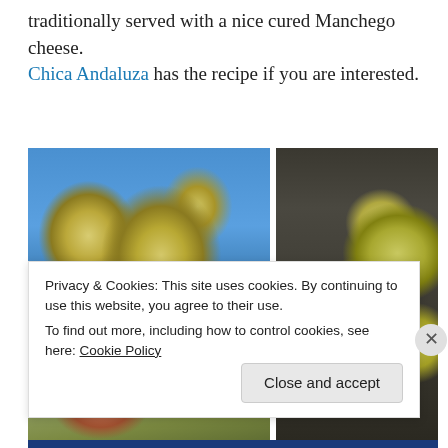traditionally served with a nice cured Manchego cheese. Chica Andaluza has the recipe if you are interested.
[Figure (photo): Three photos of quinces: top-left shows yellow-green quinces hanging on a tree branch against a blue sky; bottom-left shows quince leaves and branches in autumn colors; right shows a plastic crate filled with harvested yellow-green quinces.]
Privacy & Cookies: This site uses cookies. By continuing to use this website, you agree to their use.
To find out more, including how to control cookies, see here: Cookie Policy